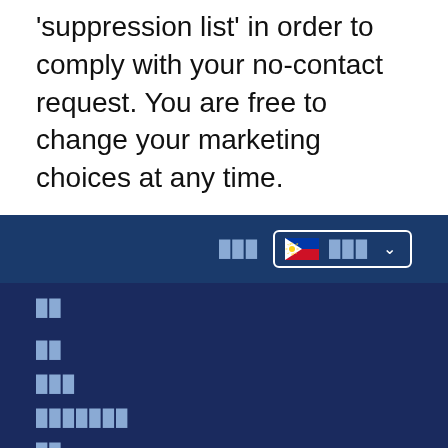'suppression list' in order to comply with your no-contact request. You are free to change your marketing choices at any time.
[Figure (screenshot): Navigation bar with language selector showing Philippine flag and text, on dark blue background]
██
██
███
███████
██
█████
███